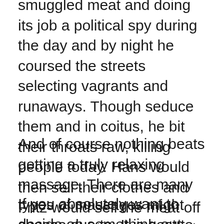smuggled meat and doing its job a political spy during the day and by night he coursed the streets selecting vagrants and runaways. Though seduce them and in coitus, he bit their throats raw, killing people today. Hans would then sell their clothes and Fritz would sell the meat off their bones to meat markets as pork, and therefore throw the remains towards the river.
And of course nothing beats getting a truly relaxing massage. There are many types of massages might choose due to. It is best to first consult with your therapist concerning.
If you absolutely want to decide on something out yourself and then suggest sure the shop offers a returns policy for